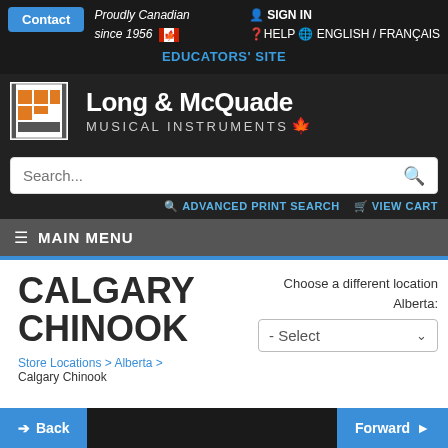Contact | Proudly Canadian since 1956 | SIGN IN | HELP | ENGLISH / FRANÇAIS | EDUCATORS' SITE
[Figure (logo): Long & McQuade Musical Instruments logo with orange grid icon and maple leaf]
Search...
ADVANCED PRINT SEARCH  VIEW CART
MAIN MENU
CALGARY CHINOOK
Choose a different location
Alberta:
- Select
Store Locations > Alberta > Calgary Chinook
Back  Forward